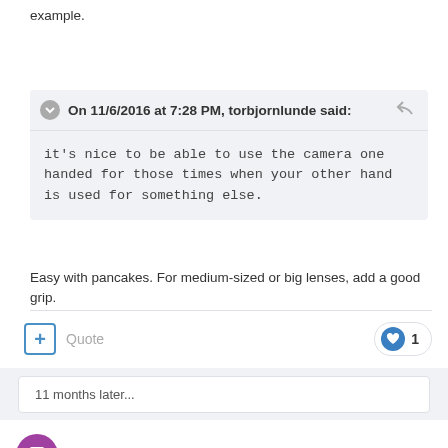example.
On 11/6/2016 at 7:28 PM, torbjornlunde said:
it's nice to be able to use the camera one handed for those times when your other hand is used for something else.
Easy with pancakes. For medium-sized or big lenses, add a good grip.
Quote
1
11 months later...
TanSriHardie